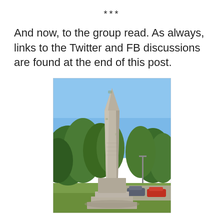***
And now, to the group read. As always, links to the Twitter and FB discussions are found at the end of this post.
[Figure (photo): Photograph of a tall stone obelisk monument standing on a stepped base, surrounded by green trees and grass, with a road and parked cars visible in the background under a blue sky.]